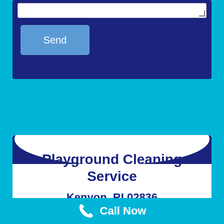[Figure (screenshot): Dark navy blue form area with a white textarea input at the top and a blue 'Send' button below it, on a cyan background]
Send
[Figure (infographic): Business card style panel with navy arc at top, showing business name and location on white background]
Playground Cleaning Service
Kenyon, RI 02836
House Washing, Soft Washing &
Call Now